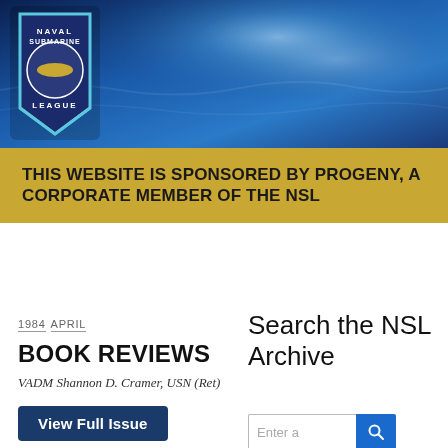[Figure (logo): Naval Submarine League logo — shield shaped badge in navy blue with light blue trim, featuring a submarine and text NAVAL SUBMARINE LEAGUE]
THIS WEBSITE IS SPONSORED BY PROGENY, A CORPORATE MEMBER OF THE NSL
1984  APRIL
BOOK REVIEWS
VADM Shannon D. Cramer, USN (Ret)
View Full Issue
Search the NSL Archive
Enter a